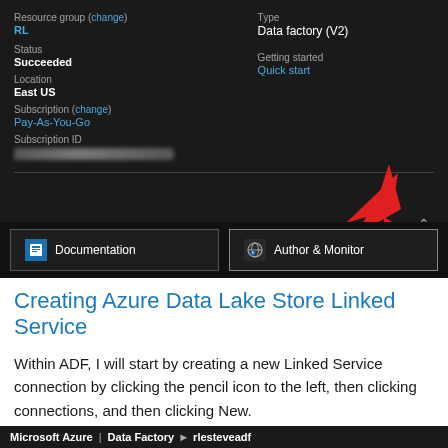[Figure (screenshot): Azure Data Factory portal screenshot showing resource group 'RL', status 'Succeeded', location 'East US', subscription 'Pay-As-You-Go', subscription ID (blurred), Type 'Data factory (V2)', Getting started 'Quick start', with Documentation and Author & Monitor buttons. A red arrow points to the Author & Monitor button.]
Creating Azure Data Lake Store Linked Service
Within ADF, I will start by creating a new Linked Service connection by clicking the pencil icon to the left, then clicking connections, and then clicking New.
[Figure (screenshot): Bottom navigation bar of Microsoft Azure Data Factory portal showing: Microsoft Azure | Data Factory > rlesteveadf]